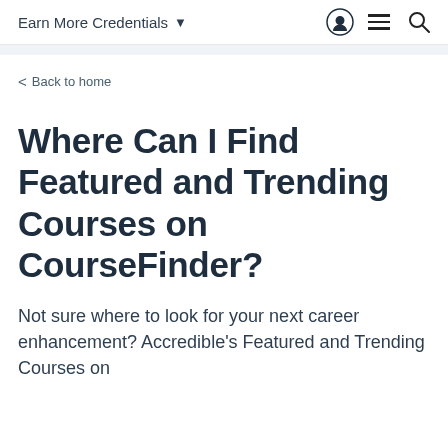Earn More Credentials
< Back to home
Where Can I Find Featured and Trending Courses on CourseFinder?
Not sure where to look for your next career enhancement? Accredible's Featured and Trending Courses on